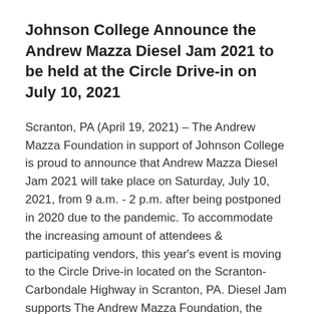Johnson College Announce the Andrew Mazza Diesel Jam 2021 to be held at the Circle Drive-in on July 10, 2021
Scranton, PA (April 19, 2021) – The Andrew Mazza Foundation in support of Johnson College is proud to announce that Andrew Mazza Diesel Jam 2021 will take place on Saturday, July 10, 2021, from 9 a.m. - 2 p.m. after being postponed in 2020 due to the pandemic. To accommodate the increasing amount of attendees & participating vendors, this year's event is moving to the Circle Drive-in located on the Scranton-Carbondale Highway in Scranton, PA. Diesel Jam supports The Andrew Mazza Foundation, the Diesel Truck Technology Program at Johnson College, & scholarships for Johnson College &